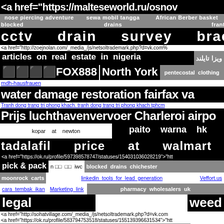<a href="https://malteseworld.ru/osnov
nose piercing adventure   sewa mobil tangga   African Berber basket
blocked   drains   frant
cctv   drain   survey   bracknell
<a href="http://zoejnolan.com/_media_/js/netsoltrademark.php?d=vk.com%
articles  on  real  estate  in  nigeria  ویزا تایلند
⬛⬛⬛⬛FOX888   North York   pentecostal clothing
mdh-hausfrauen
water damage restoration fairfax va
Tranh dong trang tri phong khach. tranh dong trang tri phong khach tphcm
Prijs luchthavenvervoer Charleroi airpo
kopar   at   newton   paito   warna   hk
tadalafil   price   at   walmart
<a href="https://ok.ru/profile/597398578747/statuses/154031036028219">"htt
pick & pack   n□□□□□  iwc   blocked drains chichester
moonrock carts   linkedin tools for lead generation   Veffort.us
cara tembak ikan   Marketing link   pharmacy wholesalers uk
legal   weed
<a href="http://sohatvillage.com/_media_/js/netsoltrademark.php?d=vk.com
<a href="https://ok.ru/profile/583794753518/statuses/155139396631534">"htt
بالانس فن   agafay desert trip from marrakech   bolatangkas
digital reload pulsa   situs 303   Read chainsaw man manga